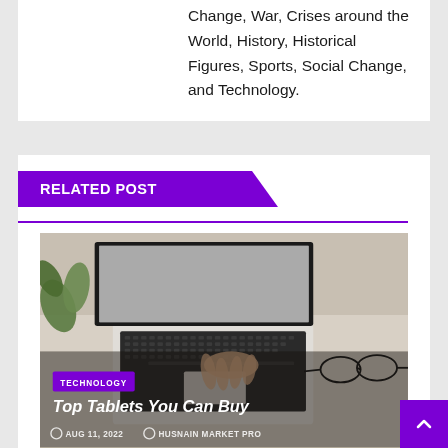Change, War, Crises around the World, History, Historical Figures, Sports, Social Change, and Technology.
RELATED POST
[Figure (photo): Person typing on a laptop keyboard with glasses and a plant visible on the desk, overhead view.]
TECHNOLOGY
Top Tablets You Can Buy
AUG 11, 2022   HUSNAIN MARKET PRO